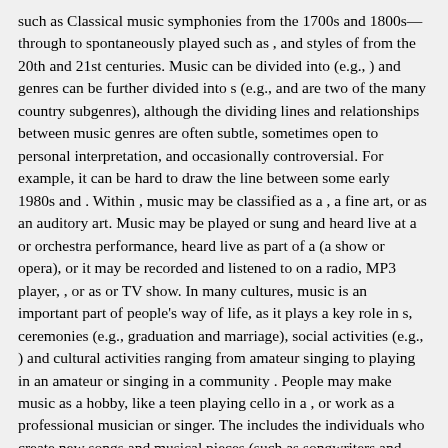such as Classical music symphonies from the 1700s and 1800s—through to spontaneously played such as , and styles of from the 20th and 21st centuries. Music can be divided into (e.g., ) and genres can be further divided into s (e.g., and are two of the many country subgenres), although the dividing lines and relationships between music genres are often subtle, sometimes open to personal interpretation, and occasionally controversial. For example, it can be hard to draw the line between some early 1980s and . Within , music may be classified as a , a fine art, or as an auditory art. Music may be played or sung and heard live at a or orchestra performance, heard live as part of a (a show or opera), or it may be recorded and listened to on a radio, MP3 player, , or as or TV show. In many cultures, music is an important part of people's way of life, as it plays a key role in s, ceremonies (e.g., graduation and marriage), social activities (e.g., ) and cultural activities ranging from amateur singing to playing in an amateur or singing in a community . People may make music as a hobby, like a teen playing cello in a , or work as a professional musician or singer. The includes the individuals who create new songs and musical pieces (such as songwriters and composers), individuals who perform music (which include orchestra, band and rock